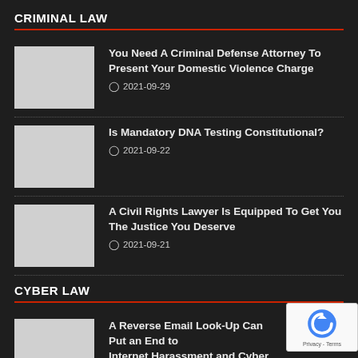CRIMINAL LAW
[Figure (photo): Thumbnail image placeholder for article 1]
You Need A Criminal Defense Attorney To Present Your Domestic Violence Charge
2021-09-29
[Figure (photo): Thumbnail image placeholder for article 2]
Is Mandatory DNA Testing Constitutional?
2021-09-22
[Figure (photo): Thumbnail image placeholder for article 3]
A Civil Rights Lawyer Is Equipped To Get You The Justice You Deserve
2021-09-21
CYBER LAW
[Figure (photo): Thumbnail image placeholder for article 4]
A Reverse Email Look-Up Can Put an End to Internet Harassment and Cyber Stalking
2021-09-29